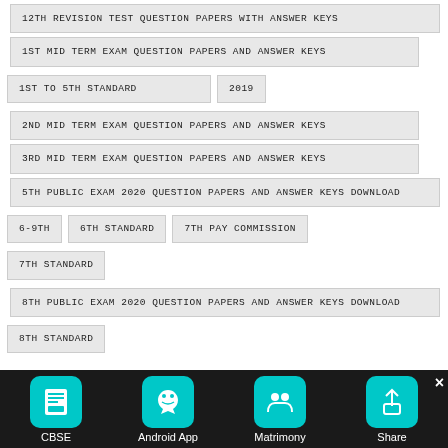12TH REVISION TEST QUESTION PAPERS WITH ANSWER KEYS
1ST MID TERM EXAM QUESTION PAPERS AND ANSWER KEYS
1ST TO 5TH STANDARD
2019
2ND MID TERM EXAM QUESTION PAPERS AND ANSWER KEYS
3RD MID TERM EXAM QUESTION PAPERS AND ANSWER KEYS
5TH PUBLIC EXAM 2020 QUESTION PAPERS AND ANSWER KEYS DOWNLOAD
6-9TH
6TH STANDARD
7TH PAY COMMISSION
7TH STANDARD
8TH PUBLIC EXAM 2020 QUESTION PAPERS AND ANSWER KEYS DOWNLOAD
8TH STANDARD
CBSE | Android App | Matrimony | Share